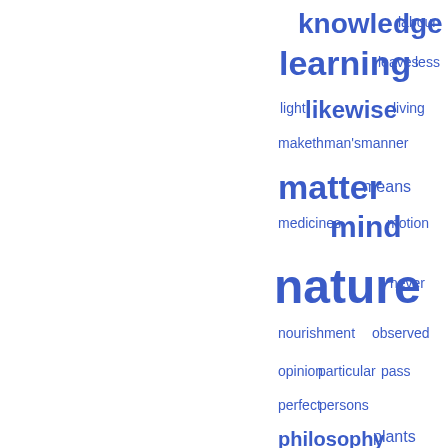[Figure (infographic): Word cloud showing various words in different sizes in blue on white background. Larger words include: nature, mind, sound, spirits, learning, knowledge, matter, reason, likewise. Smaller words include: labour, leaves, less, light, living, maketh, man's, manner, means, medicines, motion, never, nourishment, observed, opinion, particular, pass, perfect, persons, philosophy, plants, pleasure, received, reported, respect, rest, root, saith, sciences, sense, side, sometimes, sort, speak, speech, string, things.]